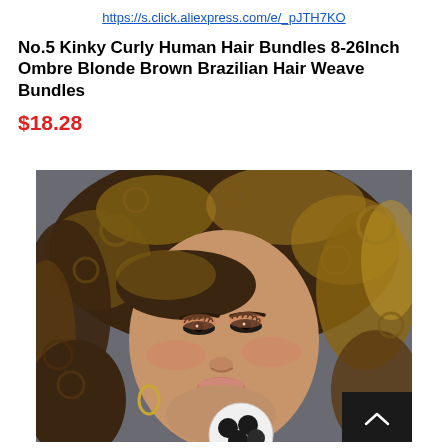https://s.click.aliexpress.com/e/_pJTH7KO
No.5 Kinky Curly Human Hair Bundles 8-26Inch Ombre Blonde Brown Brazilian Hair Weave Bundles
$18.28
[Figure (photo): Close-up photo of a woman with voluminous kinky curly ombre hair featuring dark brown roots with blonde highlights, wearing gold hoop earrings, with makeup including dramatic lashes and blush. A small circular inset showing hair bundle samples is partially visible at the bottom.]